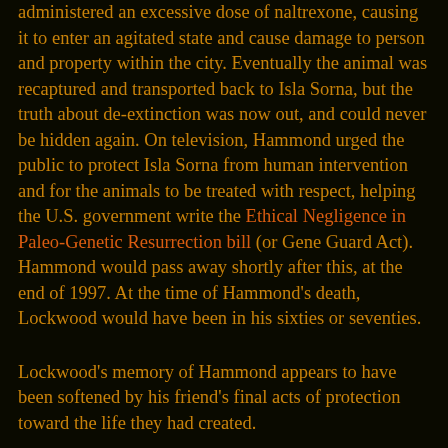accidentally was being administered an excessive dose of naltrexone, causing it to enter an agitated state and cause damage to person and property within the city. Eventually the animal was recaptured and transported back to Isla Sorna, but the truth about de-extinction was now out, and could never be hidden again. On television, Hammond urged the public to protect Isla Sorna from human intervention and for the animals to be treated with respect, helping the U.S. government write the Ethical Negligence in Paleo-Genetic Resurrection bill (or Gene Guard Act). Hammond would pass away shortly after this, at the end of 1997. At the time of Hammond's death, Lockwood would have been in his sixties or seventies.
Lockwood's memory of Hammond appears to have been softened by his friend's final acts of protection toward the life they had created.